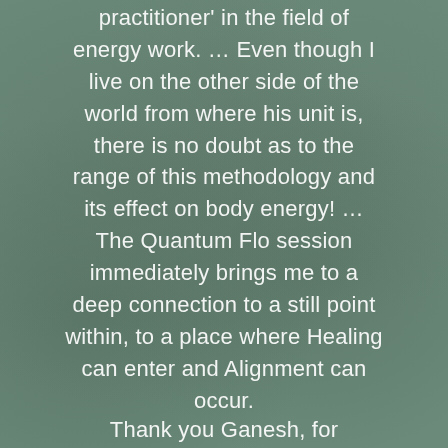practitioner' in the field of energy work. … Even though I live on the other side of the world from where his unit is, there is no doubt as to the range of this methodology and its effect on body energy! … The Quantum Flo session immediately brings me to a deep connection to a still point within, to a place where Healing can enter and Alignment can occur.
Thank you Ganesh, for